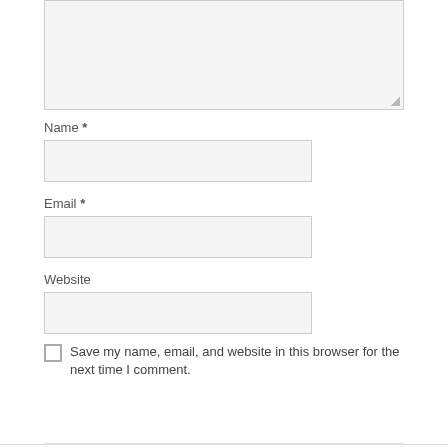[Figure (screenshot): Comment form textarea stub at top of page (partially visible, with resize handle)]
Name *
[Figure (screenshot): Name input field (empty, light gray background)]
Email *
[Figure (screenshot): Email input field (empty, light gray background)]
Website
[Figure (screenshot): Website input field (empty, light gray background)]
Save my name, email, and website in this browser for the next time I comment.
Post Comment
« NTU Student Intranet login | ts.ntu.edu.sg
NUS student portal login here | myportal.nus.edu.sg »